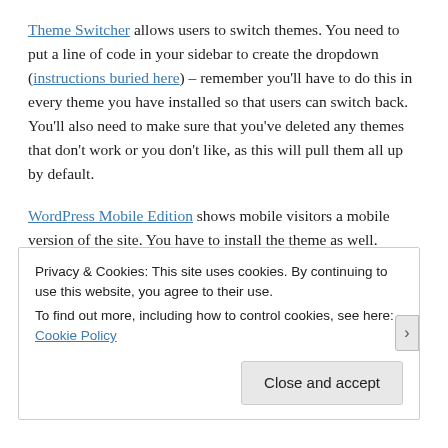Theme Switcher allows users to switch themes. You need to put a line of code in your sidebar to create the dropdown (instructions buried here) – remember you'll have to do this in every theme you have installed so that users can switch back. You'll also need to make sure that you've deleted any themes that don't work or you don't like, as this will pull them all up by default.
WordPress Mobile Edition shows mobile visitors a mobile version of the site. You have to install the theme as well.
Privacy & Cookies: This site uses cookies. By continuing to use this website, you agree to their use. To find out more, including how to control cookies, see here: Cookie Policy